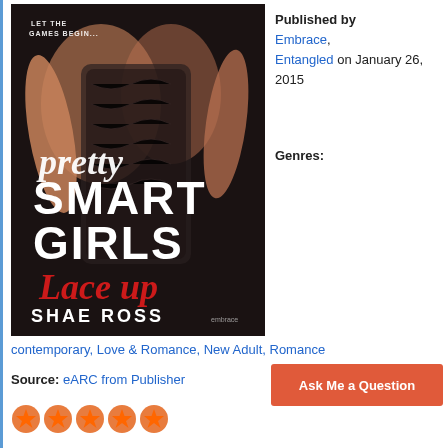[Figure (photo): Book cover for 'Pretty Smart Girls Lace Up' by Shae Ross, published by Embrace/Entangled. Dark background with a woman in a lace corset dress. Title text in white and red script. Tagline: 'Let the games begin...']
Published by Embrace, Entangled on January 26, 2015
Genres:
contemporary, Love & Romance, New Adult, Romance
Source: eARC from Publisher
[Figure (other): Red button with text 'Ask Me a Question']
[Figure (other): Five orange star rating icons]